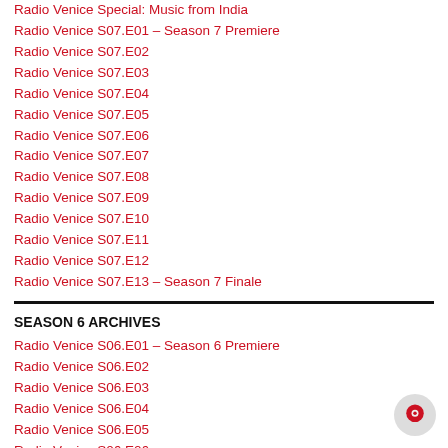Radio Venice Special: Music from India
Radio Venice S07.E01 – Season 7 Premiere
Radio Venice S07.E02
Radio Venice S07.E03
Radio Venice S07.E04
Radio Venice S07.E05
Radio Venice S07.E06
Radio Venice S07.E07
Radio Venice S07.E08
Radio Venice S07.E09
Radio Venice S07.E10
Radio Venice S07.E11
Radio Venice S07.E12
Radio Venice S07.E13 – Season 7 Finale
SEASON 6 ARCHIVES
Radio Venice S06.E01 – Season 6 Premiere
Radio Venice S06.E02
Radio Venice S06.E03
Radio Venice S06.E04
Radio Venice S06.E05
Radio Venice S06.E06